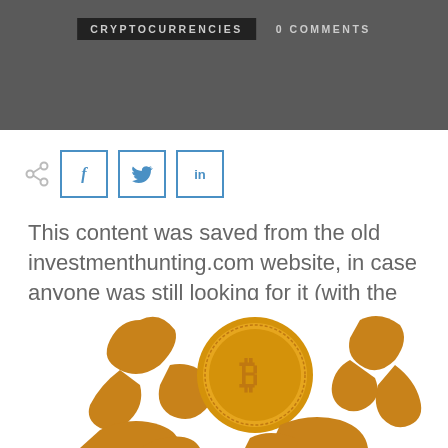CRYPTOCURRENCIES   0 COMMENTS
[Figure (illustration): Social sharing icons: a share/network icon followed by three square buttons with Facebook (f), Twitter (bird), and LinkedIn (in) logos in blue outline style]
This content was saved from the old investmenthunting.com website, in case anyone was still looking for it (with the help of archive.org)
[Figure (illustration): Golden muscleman flexing biceps on both sides of a gold cryptocurrency coin, partially visible at bottom of page]